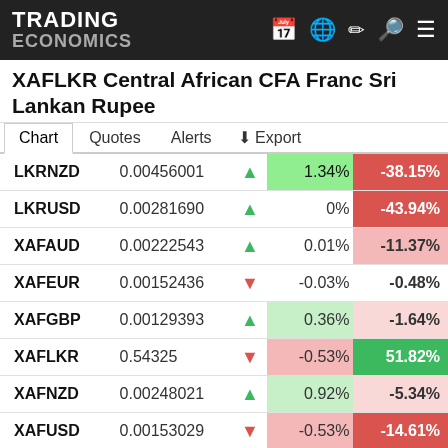TRADING ECONOMICS
XAFLKR Central African CFA Franc Sri Lankan Rupee
Chart  Quotes  Alerts  Export
|  |  |  | Day% | Year% |
| --- | --- | --- | --- | --- |
| LKRNZD | 0.00456001 | ▲ | 1.34% | -38.15% |
| LKRUSD | 0.00281690 | ▲ | 0% | -43.94% |
| XAFAUD | 0.00222543 | ▲ | 0.01% | -11.37% |
| XAFEUR | 0.00152436 | ▼ | -0.03% | -0.48% |
| XAFGBP | 0.00129393 | ▲ | 0.36% | -1.64% |
| XAFLKR | 0.54325 | ▼ | -0.53% | 51.82% |
| XAFNZD | 0.00248021 | ▲ | 0.92% | -5.34% |
| XAFUSD | 0.00153029 | ▼ | -0.53% | -14.61% |